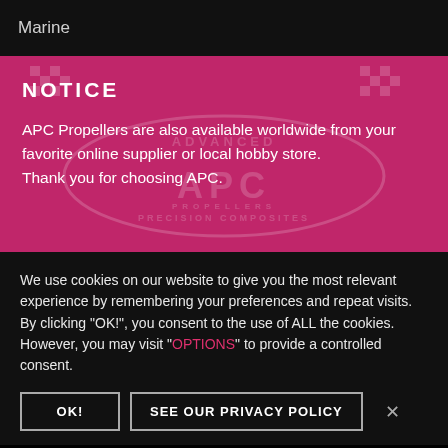Marine
NOTICE
APC Propellers are also available worldwide from your favorite online supplier or local hobby store. Thank you for choosing APC.
We use cookies on our website to give you the most relevant experience by remembering your preferences and repeat visits. By clicking "OK!", you consent to the use of ALL the cookies. However, you may visit "OPTIONS" to provide a controlled consent.
OK!
SEE OUR PRIVACY POLICY